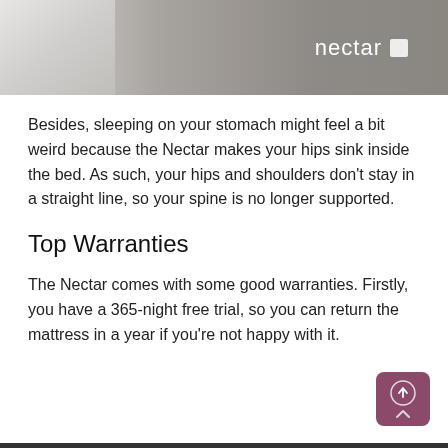[Figure (photo): Nectar mattress header image with grey fabric texture and Nectar logo in white text on the right]
Besides, sleeping on your stomach might feel a bit weird because the Nectar makes your hips sink inside the bed. As such, your hips and shoulders don't stay in a straight line, so your spine is no longer supported.
Top Warranties
The Nectar comes with some good warranties. Firstly, you have a 365-night free trial, so you can return the mattress in a year if you're not happy with it.